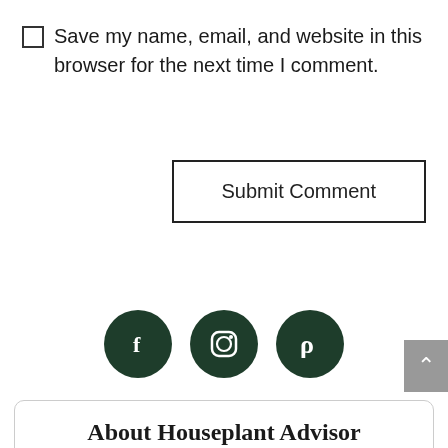☐ Save my name, email, and website in this browser for the next time I comment.
Submit Comment
[Figure (illustration): Three dark green circular social media icons: Facebook (f), Instagram (camera/circle icon), Pinterest (p)]
About Houseplant Advisor
Our aim? Simple. Cut through the jargon and help you make the right decisions